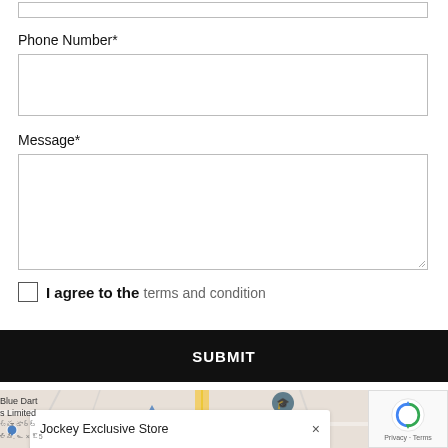[Figure (screenshot): Top of a contact form showing a partially visible input box at the very top of the page]
Phone Number*
[Figure (screenshot): Phone Number input field, empty text box with border]
Message*
[Figure (screenshot): Message textarea input field, empty, with resize handle]
I agree to the terms and condition
SUBMIT
[Figure (map): Google Maps snippet showing streets, a location pin for Jockey Exclusive Store with a popup, Blue Dart Limited label on left, Temple label on right, and reCAPTCHA widget in bottom-right corner]